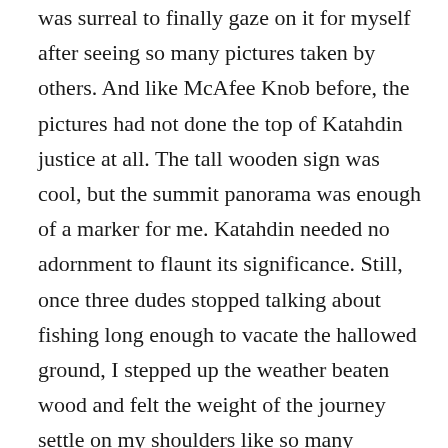was surreal to finally gaze on it for myself after seeing so many pictures taken by others. And like McAfee Knob before, the pictures had not done the top of Katahdin justice at all. The tall wooden sign was cool, but the summit panorama was enough of a marker for me. Katahdin needed no adornment to flaunt its significance. Still, once three dudes stopped talking about fishing long enough to vacate the hallowed ground, I stepped up the weather beaten wood and felt the weight of the journey settle on my shoulders like so many thousands before me. I was here. I was one of them. It was done.

We all three settled nearby to soak it in and cook up